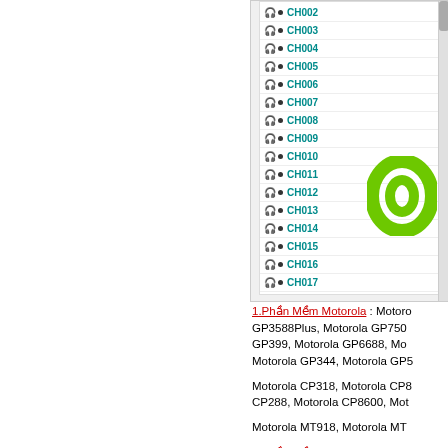[Figure (screenshot): Software interface showing a channel list with entries CH002 through CH017, each with a headphone icon and dot indicator, with a scrollbar on the right side. A partial green logo is visible in the lower right.]
1.Phần Mềm Motorola : Motorola GP3588Plus, Motorola GP7500, GP399, Motorola GP6688, Motorola GP344, Motorola GP5
Motorola CP318, Motorola CP8, CP288, Motorola CP8600, Mot
Motorola MT918, Motorola MT
2.Phần Mềm Kenwood : Kenw...